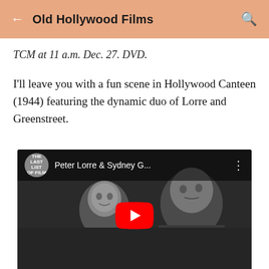Old Hollywood Films
TCM at 11 a.m. Dec. 27. DVD.
I'll leave you with a fun scene in Hollywood Canteen (1944) featuring the dynamic duo of Lorre and Greenstreet.
[Figure (screenshot): YouTube video thumbnail showing Peter Lorre and Sydney Greenstreet in a black-and-white scene from Hollywood Canteen (1944), with YouTube play button overlay and video title 'Peter Lorre & Sydney G...']